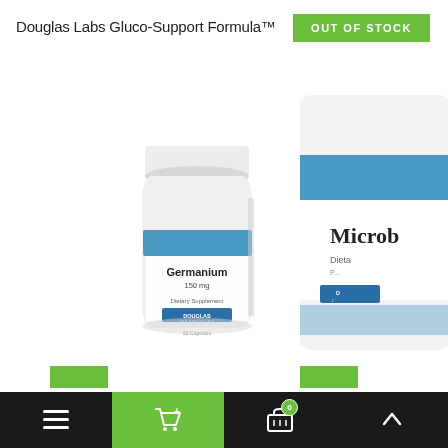Douglas Labs Gluco-Support Formula™
OUT OF STOCK
[Figure (photo): Douglas Laboratories Germanium 150 mg dietary supplement capsule bottle, white with blue label band]
[Figure (photo): Douglas Laboratories Microb- (partially visible) dietary supplement container, white with blue band, partially cropped on right edge]
[Figure (other): Mobile app navigation bar with menu (hamburger), cart (shopping cart with add icon, green background), basket with badge showing 0, and up arrow buttons]